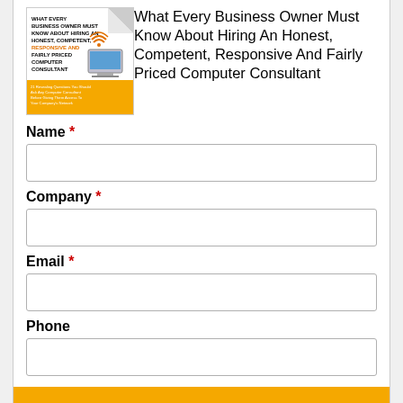[Figure (illustration): Book cover: 'What Every Business Owner Must Know About Hiring An Honest, Competent, Responsive And Fairly Priced Computer Consultant' with an orange/yellow bottom section and computer graphic]
What Every Business Owner Must Know About Hiring An Honest, Competent, Responsive And Fairly Priced Computer Consultant
Name *
Company *
Email *
Phone